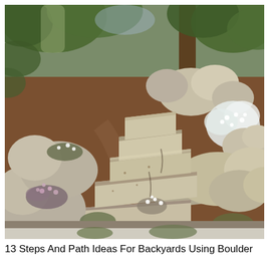[Figure (photo): A landscaped hillside garden featuring large natural boulder stone steps ascending a slope, surrounded by mulch, low-growing flowering plants with small white and purple blooms, and trees in the background providing shade. The stones are large, flat-topped granite boulders arranged as rustic natural steps.]
13 Steps And Path Ideas For Backyards Using Boulder